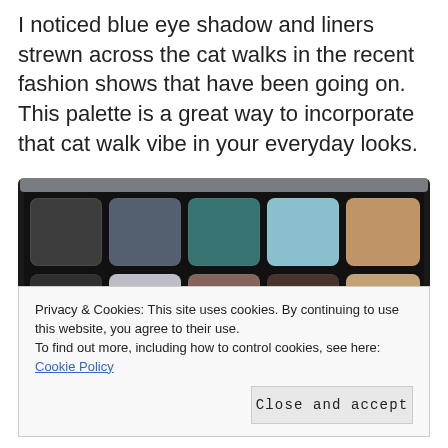I noticed blue eye shadow and liners strewn across the cat walks in the recent fashion shows that have been going on. This palette is a great way to incorporate that cat walk vibe in your everyday looks.
[Figure (photo): An eye shadow palette with 10 color pans arranged in two rows of 5. Top row colors (left to right): dark charcoal grey, slate blue-grey, teal green, light sky blue, warm sandy beige. Bottom row colors (left to right): dark grey, light grey/lavender, mauve-brown, dark chocolate brown, light tan/champagne. The palette has a black compact frame with a clear lid visible at top.]
Privacy & Cookies: This site uses cookies. By continuing to use this website, you agree to their use.
To find out more, including how to control cookies, see here: Cookie Policy
Close and accept